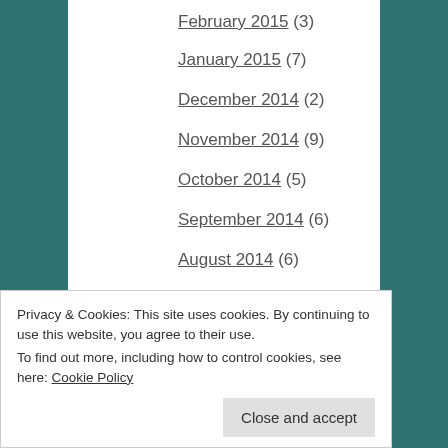February 2015 (3)
January 2015 (7)
December 2014 (2)
November 2014 (9)
October 2014 (5)
September 2014 (6)
August 2014 (6)
July 2014 (4)
June 2014 (1)
May 2014 (5)
April 2014 (11)
Privacy & Cookies: This site uses cookies. By continuing to use this website, you agree to their use. To find out more, including how to control cookies, see here: Cookie Policy